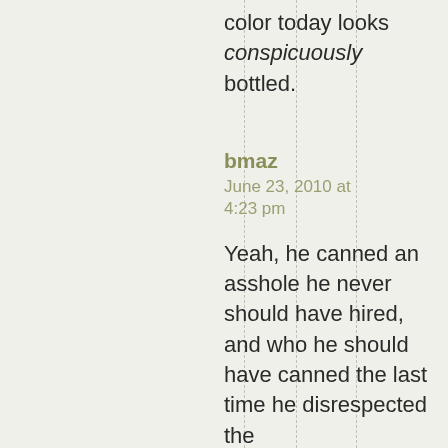color today looks conspicuously bottled.
bmaz
June 23, 2010 at 4:23 pm
Yeah, he canned an asshole he never should have hired, and who he should have canned the last time he disrespected the